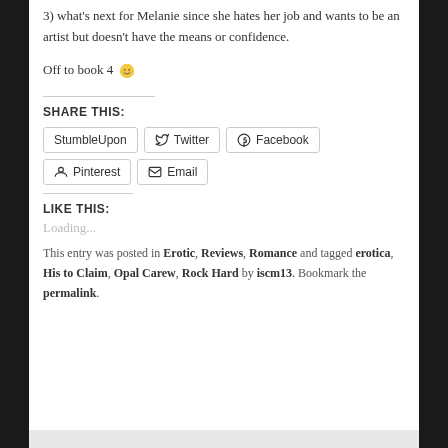3) what's next for Melanie since she hates her job and wants to be an artist but doesn't have the means or confidence.
Off to book 4 🙂
SHARE THIS:
StumbleUpon  Twitter  Facebook  Pinterest  Email
LIKE THIS:
Loading...
This entry was posted in Erotic, Reviews, Romance and tagged erotica, His to Claim, Opal Carew, Rock Hard by iscm13. Bookmark the permalink.